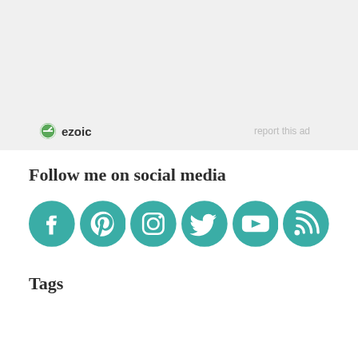[Figure (logo): Ezoic ad banner placeholder with ezoic logo and 'report this ad' text on grey background]
Follow me on social media
[Figure (illustration): Row of teal social media icons: Facebook, Pinterest, Instagram, Twitter, YouTube, RSS]
Tags